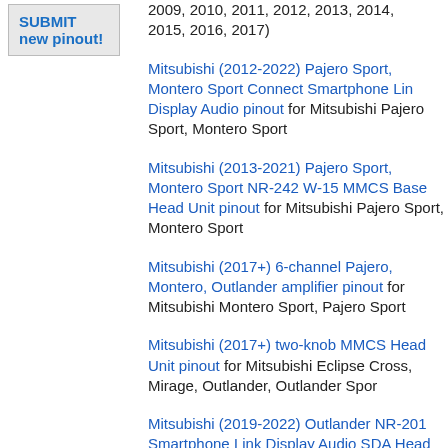SUBMIT new pinout!
2009, 2010, 2011, 2012, 2013, 2014, 2015, 2016, 2017)
Mitsubishi (2012-2022) Pajero Sport, Montero Sport Connect Smartphone Link Display Audio pinout for Mitsubishi Pajero Sport, Montero Sport
Mitsubishi (2013-2021) Pajero Sport, Montero Sport NR-242 W-15 MMCS Base Head Unit pinout for Mitsubishi Pajero Sport, Montero Sport
Mitsubishi (2017+) 6-channel Pajero, Montero, Outlander amplifier pinout for Mitsubishi Montero Sport, Pajero Sport
Mitsubishi (2017+) two-knob MMCS Head Unit pinout for Mitsubishi Eclipse Cross, Mirage, Outlander, Outlander Sport
Mitsubishi (2019-2022) Outlander NR-201 Smartphone Link Display Audio SDA Head Unit pinout for Mitsubishi Eclipse